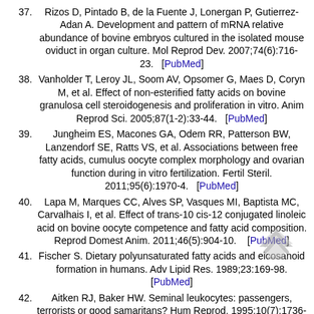37. Rizos D, Pintado B, de la Fuente J, Lonergan P, Gutierrez-Adan A. Development and pattern of mRNA relative abundance of bovine embryos cultured in the isolated mouse oviduct in organ culture. Mol Reprod Dev. 2007;74(6):716-23. [PubMed]
38. Vanholder T, Leroy JL, Soom AV, Opsomer G, Maes D, Coryn M, et al. Effect of non-esterified fatty acids on bovine granulosa cell steroidogenesis and proliferation in vitro. Anim Reprod Sci. 2005;87(1-2):33-44. [PubMed]
39. Jungheim ES, Macones GA, Odem RR, Patterson BW, Lanzendorf SE, Ratts VS, et al. Associations between free fatty acids, cumulus oocyte complex morphology and ovarian function during in vitro fertilization. Fertil Steril. 2011;95(6):1970-4. [PubMed]
40. Lapa M, Marques CC, Alves SP, Vasques MI, Baptista MC, Carvalhais I, et al. Effect of trans-10 cis-12 conjugated linoleic acid on bovine oocyte competence and fatty acid composition. Reprod Domest Anim. 2011;46(5):904-10. [PubMed]
41. Fischer S. Dietary polyunsaturated fatty acids and eicosanoid formation in humans. Adv Lipid Res. 1989;23:169-98. [PubMed]
42. Aitken RJ, Baker HW. Seminal leukocytes: passengers, terrorists or good samaritans? Hum Reprod. 1995;10(7):1736-9. [PubMed]